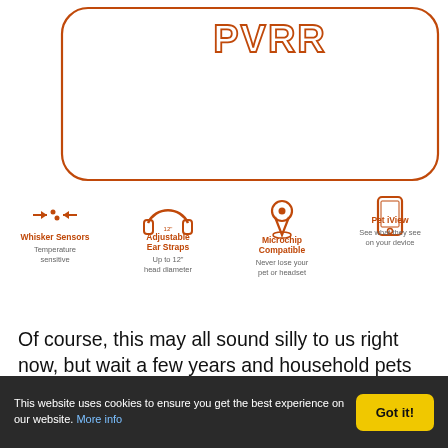[Figure (illustration): PVRR product card with orange rounded rectangle border, PVRR logo text in orange at top center]
[Figure (infographic): Four features row with icons: Whisker Sensors (Temperature sensitive), Adjustable Ear Straps (Up to 12 inch head diameter), Microchip Compatible (Never lose your pet or headset), Pet iView (See what they see on your device)]
Of course, this may all sound silly to us right now, but wait a few years and household pets may well while away lonely days at home being fed by robots and goofing off inside simulated playscapes. According to the PVRR brief: dogs are the next target audience, so: stay tuned, canine fans!
This website uses cookies to ensure you get the best experience on our website. More info